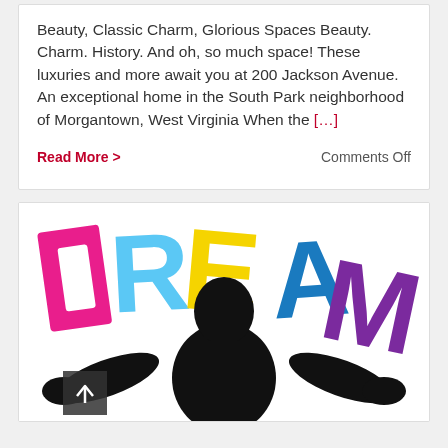Beauty, Classic Charm, Glorious Spaces Beauty. Charm. History. And oh, so much space! These luxuries and more await you at 200 Jackson Avenue. An exceptional home in the South Park neighborhood of Morgantown, West Virginia When the […]
Read More >
Comments Off
[Figure (illustration): Colorful DREAM letters in magenta, light blue, yellow, and purple with a black silhouette of a man with arms outstretched in the foreground]